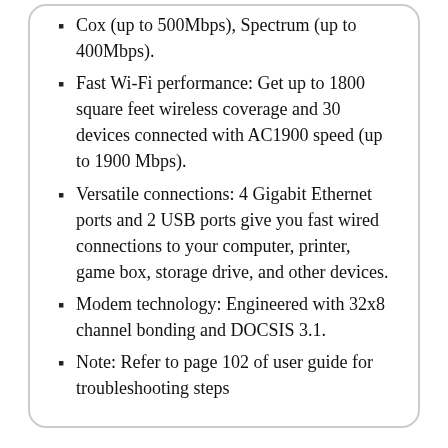Cox (up to 500Mbps), Spectrum (up to 400Mbps).
Fast Wi-Fi performance: Get up to 1800 square feet wireless coverage and 30 devices connected with AC1900 speed (up to 1900 Mbps).
Versatile connections: 4 Gigabit Ethernet ports and 2 USB ports give you fast wired connections to your computer, printer, game box, storage drive, and other devices.
Modem technology: Engineered with 32x8 channel bonding and DOCSIS 3.1.
Note: Refer to page 102 of user guide for troubleshooting steps